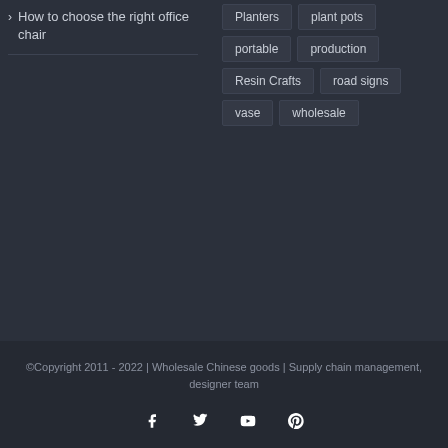> How to choose the right office chair
Planters | plant pots | portable | production | Resin Crafts | road signs | vase | wholesale
©Copyright 2011 - 2022 | Wholesale Chinese goods | Supply chain management, designer team